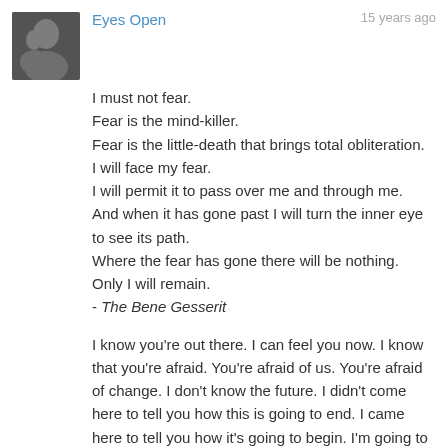[Figure (photo): Black and white avatar photo showing two people embracing]
Eyes Open
15 years ago
I must not fear.
Fear is the mind-killer.
Fear is the little-death that brings total obliteration.
I will face my fear.
I will permit it to pass over me and through me.
And when it has gone past I will turn the inner eye to see its path.
Where the fear has gone there will be nothing.
Only I will remain.
- The Bene Gesserit
I know you're out there. I can feel you now. I know that you're afraid. You're afraid of us. You're afraid of change. I don't know the future. I didn't come here to tell you how this is going to end. I came here to tell you how it's going to begin. I'm going to hang up this phone, and then I'm going to show these people what you don't want them to see. I'm